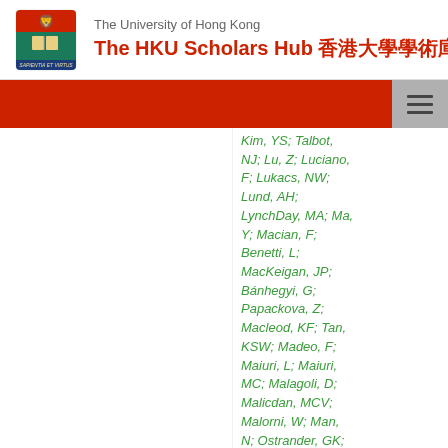The University of Hong Kong — The HKU Scholars Hub 香港大學學術庫
Kim, YS; Talbot, NJ; Lu, Z; Luciano, F; Lukacs, NW; Lund, AH; LynchDay, MA; Ma, Y; Macian, F; Benetti, L; MacKeigan, JP; Bánhegyi, G; Papackova, Z; Macleod, KF; Tan, KSW; Madeo, F; Maiuri, L; Maiuri, MC; Malagoli, D; Malicdan, MCV; Malorni, W; Man, N; Ostrander, GK; Mandolkow, EM;